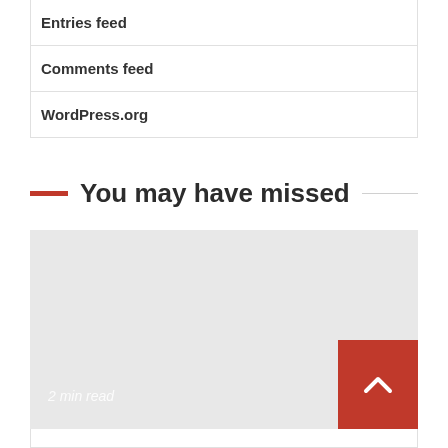Entries feed
Comments feed
WordPress.org
You may have missed
[Figure (other): Gray placeholder image card with '2 min read' label at bottom-left and a red scroll-to-top button at bottom-right with a chevron up arrow]
2 min read